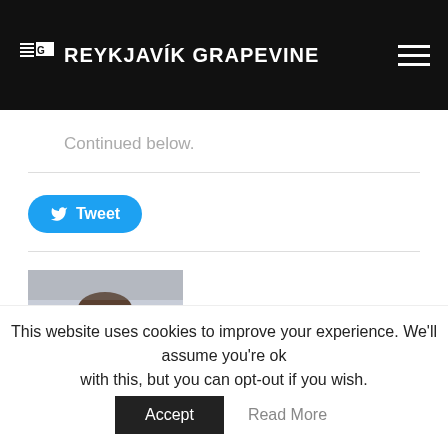THE REYKJAVIK GRAPEVINE
Continued below.
Tweet
Words by Valur Grettisson
Published October 6, 2017
This website uses cookies to improve your experience. We'll assume you're ok with this, but you can opt-out if you wish.